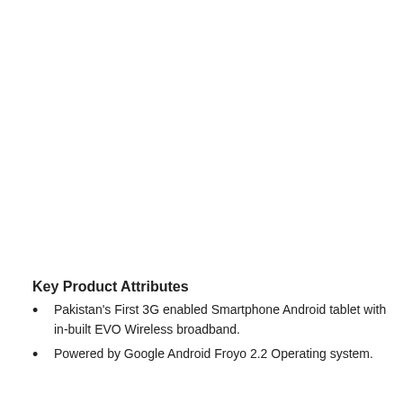Key Product Attributes
Pakistan's First 3G enabled Smartphone Android tablet with in-built EVO Wireless broadband.
Powered by Google Android Froyo 2.2 Operating system.